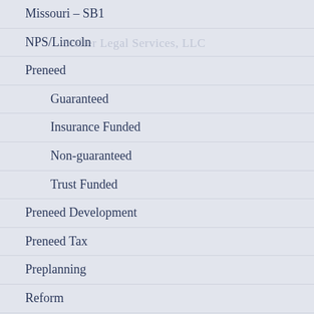Missouri – SB1
NPS/Lincoln
Preneed
Guaranteed
Insurance Funded
Non-guaranteed
Trust Funded
Preneed Development
Preneed Tax
Preplanning
Reform
Supulcher/Preference Laws